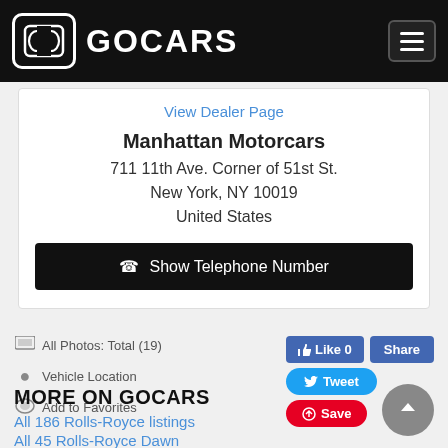GOCARS
View Dealer Page
Manhattan Motorcars
711 11th Ave. Corner of 51st St.
New York, NY 10019
United States
☎ Show Telephone Number
All Photos: Total (19)
Vehicle Location
Add to Favorites
[Figure (screenshot): Social sharing buttons: Like 0, Share, Tweet, Save]
MORE ON GOCARS
All 186 Rolls-Royce listings
All 45 Rolls-Royce Dawn